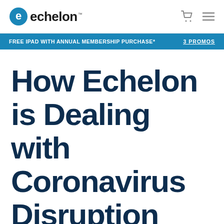echelon™
FREE IPAD WITH ANNUAL MEMBERSHIP PURCHASE*   3 PROMOS
How Echelon is Dealing with Coronavirus Disruption